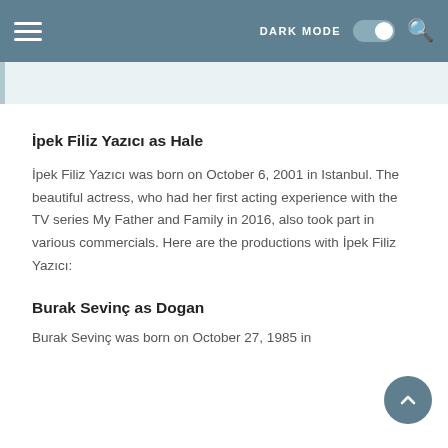≡  DARK MODE  🔍
[Figure (other): Light teal banner/image placeholder area with left border accent]
İpek Filiz Yazıcı as Hale
İpek Filiz Yazıcı was born on October 6, 2001 in Istanbul. The beautiful actress, who had her first acting experience with the TV series My Father and Family in 2016, also took part in various commercials. Here are the productions with İpek Filiz Yazıcı:
Burak Sevinç as Dogan
Burak Sevinç was born on October 27, 1985 in